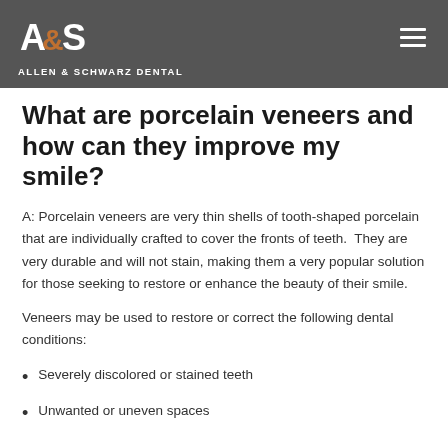ALLEN & SCHWARZ DENTAL
What are porcelain veneers and how can they improve my smile?
A: Porcelain veneers are very thin shells of tooth-shaped porcelain that are individually crafted to cover the fronts of teeth.  They are very durable and will not stain, making them a very popular solution for those seeking to restore or enhance the beauty of their smile.
Veneers may be used to restore or correct the following dental conditions:
Severely discolored or stained teeth
Unwanted or uneven spaces